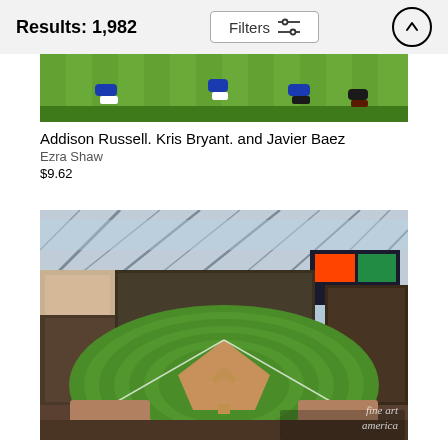Results: 1,982
[Figure (photo): Partial view of a baseball field showing green grass and players' feet/legs, cropped top portion]
Addison Russell. Kris Bryant. and Javier Baez
Ezra Shaw
$9.62
[Figure (photo): Aerial/wide-angle view of a baseball stadium interior (likely Minute Maid Park in Houston) filled with spectators, showing the full baseball diamond from an elevated perspective. The retractable roof structure is visible overhead. A 'fine art america' watermark appears in the bottom right corner.]